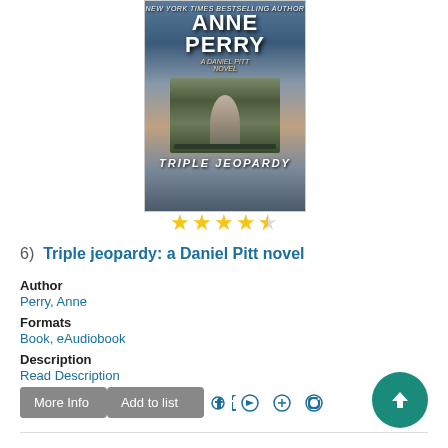[Figure (photo): Book cover of 'Triple Jeopardy: A Daniel Pitt Novel' by Anne Perry, showing a woman in period dress standing before iron gates with a moody sky background. Text reads NEW YORK TIMES BESTSELLING AUTHOR ANNE PERRY, A DANIEL PITT NOVEL, TRIPLE JEOPARDY.]
[Figure (other): 4.5 star rating shown as 5 yellow stars with the last one half-filled]
6)  Triple jeopardy: a Daniel Pitt novel
Author
Perry, Anne
Formats
Book, eAudiobook
Description
Read Description